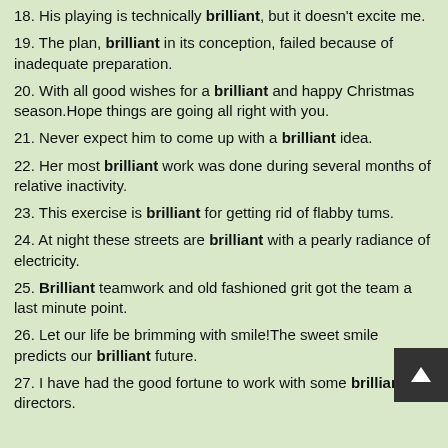18. His playing is technically brilliant, but it doesn't excite me.
19. The plan, brilliant in its conception, failed because of inadequate preparation.
20. With all good wishes for a brilliant and happy Christmas season.Hope things are going all right with you.
21. Never expect him to come up with a brilliant idea.
22. Her most brilliant work was done during several months of relative inactivity.
23. This exercise is brilliant for getting rid of flabby tums.
24. At night these streets are brilliant with a pearly radiance of electricity.
25. Brilliant teamwork and old fashioned grit got the team a last minute point.
26. Let our life be brimming with smile!The sweet smile predicts our brilliant future.
27. I have had the good fortune to work with some brilliant directors.